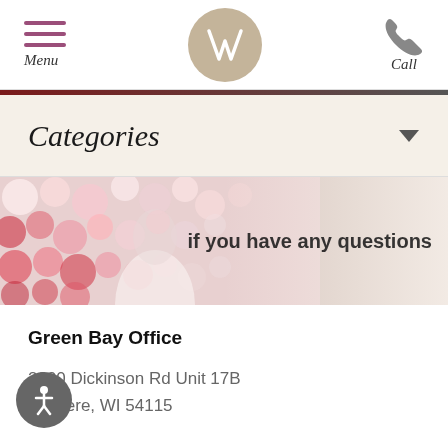Menu | W logo | Call
Categories
[Figure (photo): Woman in floral dress standing in front of flower wall background, with text overlay reading 'if you have any questions']
Green Bay Office
2200 Dickinson Rd Unit 17B
De Pere, WI 54115